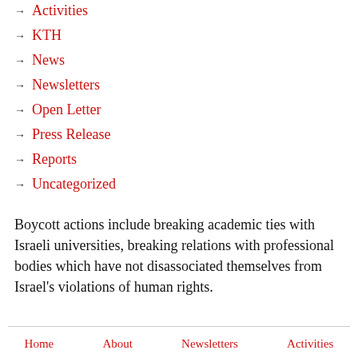→ Activities
→ KTH
→ News
→ Newsletters
→ Open Letter
→ Press Release
→ Reports
→ Uncategorized
Boycott actions include breaking academic ties with Israeli universities, breaking relations with professional bodies which have not disassociated themselves from Israel's violations of human rights.
Home  About  Newsletters  Activities